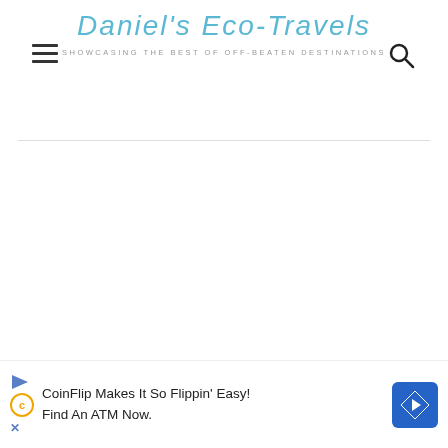Daniel's Eco-Travels — SHOWCASING THE BEST OF OFF-BEATEN DESTINATIONS
[Figure (photo): Large blank/white image area below header divider, presumably a nature/travel photograph that did not load]
There are only a few cottages set amidst the backdrop of
[Figure (other): CoinFlip advertisement banner: 'CoinFlip Makes It So Flippin' Easy! Find An ATM Now.' with play, C logo, X icons on left and blue diamond arrow logo on right]